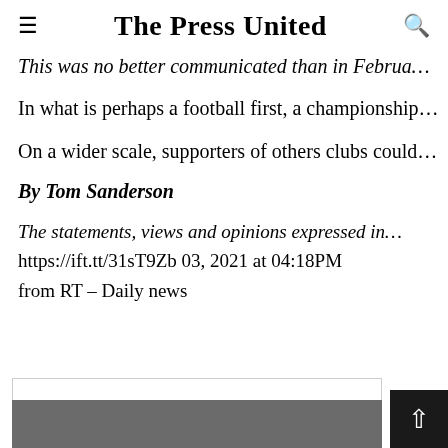The Press United
This was no better communicated than in Februa…
In what is perhaps a football first, a championship…
On a wider scale, supporters of others clubs could…
By Tom Sanderson
The statements, views and opinions expressed in… https://ift.tt/31sT9Zb 03, 2021 at 04:18PM from RT – Daily news
[Figure (other): Bottom image area with gray background and back-to-top button]